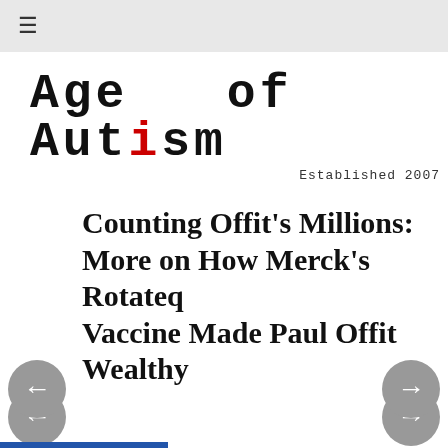≡
[Figure (logo): Age of Autism logo with typewriter-style font, red letter i in Autism, and 'Established 2007' subtitle]
Counting Offit's Millions: More on How Merck's Rotateq Vaccine Made Paul Offit Wealthy